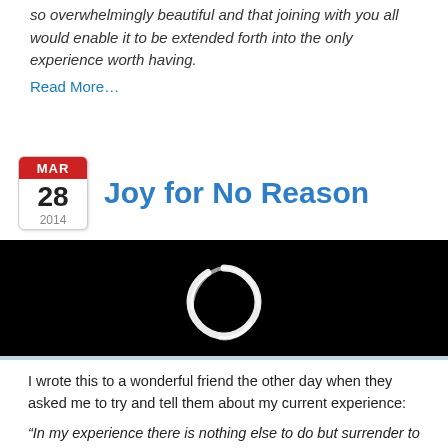so overwhelmingly beautiful and that joining with you all would enable it to be extended forth into the only experience worth having.
Read More…
Joy for No Reason
[Figure (illustration): Black background with a white enso (zen circle brush stroke) in the center]
I wrote this to a wonderful friend the other day when they asked me to try and tell them about my current experience:
“In my experience there is nothing else to do but surrender to each moment in that moment. No matter the